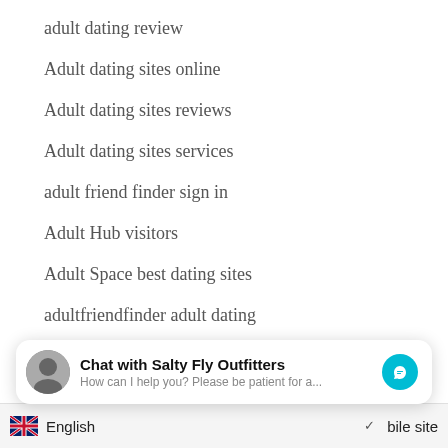adult dating review
Adult dating sites online
Adult dating sites reviews
Adult dating sites services
adult friend finder sign in
Adult Hub visitors
Adult Space best dating sites
adultfriendfinder adult dating
adultfriendfinder come funziona
[Figure (screenshot): Chat widget overlay: avatar image, bold title 'Chat with Salty Fly Outfitters', subtitle 'How can I help you? Please be patient for a...', teal messenger icon button]
English  ∨  bile site